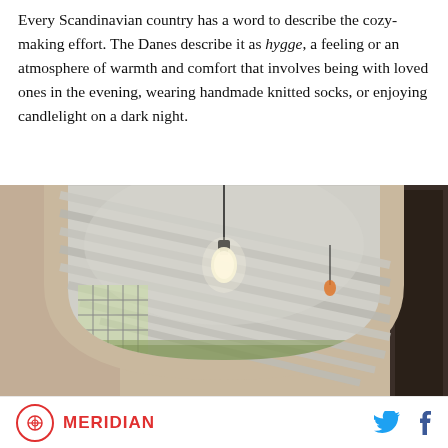Every Scandinavian country has a word to describe the cozy-making effort. The Danes describe it as hygge, a feeling or an atmosphere of warmth and comfort that involves being with loved ones in the evening, wearing handmade knitted socks, or enjoying candlelight on a dark night.
[Figure (photo): A photo looking through a large arched doorway or passageway into a covered patio or pergola area. A bare incandescent bulb hangs from a wire in the center of the arch. The ceiling of the structure beyond shows diagonal wooden slats. The arch framing is painted in a warm beige/tan color.]
MERIDIAN [logo with Twitter and Facebook social icons]